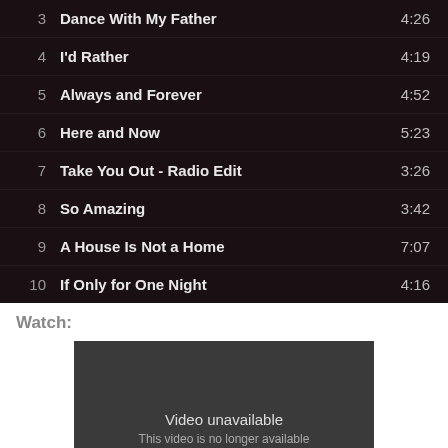3  Dance With My Father  4:26
4  I'd Rather  4:19
5  Always and Forever  4:52
6  Here and Now  5:23
7  Take You Out - Radio Edit  3:26
8  So Amazing  3:42
9  A House Is Not a Home  7:07
10  If Only for One Night  4:16
Watch:
[Figure (screenshot): Video player showing 'Video unavailable - This video is no longer available' message on dark background]